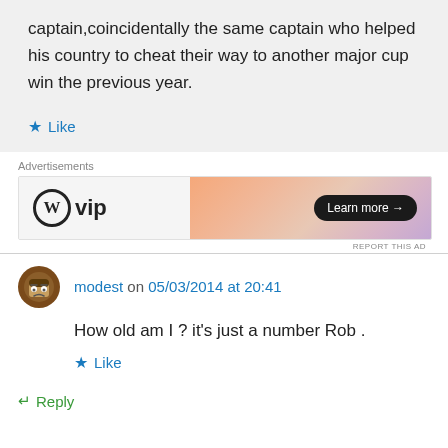captain,coincidentally the same captain who helped his country to cheat their way to another major cup win the previous year.
Like
[Figure (screenshot): WordPress VIP advertisement banner with logo on left and orange/pink gradient on right with Learn more button]
modest on 05/03/2014 at 20:41
How old am I ? it's just a number Rob .
Like
Reply